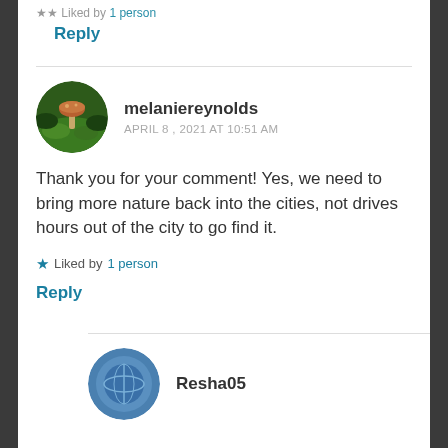★★ Liked by 1 person
Reply
melaniereynolds
APRIL 8, 2021 AT 10:51 AM
Thank you for your comment! Yes, we need to bring more nature back into the cities, not drives hours out of the city to go find it.
★ Liked by 1 person
Reply
Resha05